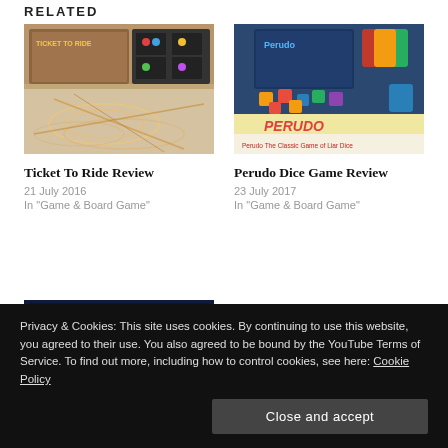RELATED
[Figure (photo): Ticket To Ride board game box and components spread out]
Ticket To Ride Review
21 July 2016
In "Game & Board Game"
[Figure (photo): Perudo Dice Game box and components with colorful dice and cups, caption: Perudo The Classic Game of Liar Dice]
Perudo Dice Game Review
23 July 2017
In "Game & Board Game"
[Figure (photo): Countdown board game box and components]
Privacy & Cookies: This site uses cookies. By continuing to use this website, you agreed to their use. You also agreed to be bound by the YouTube Terms of Service. To find out more, including how to control cookies, see here: Cookie Policy
Close and accept